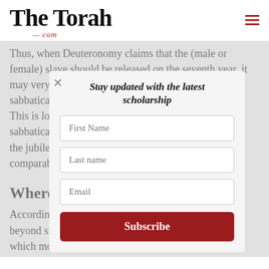The Torah .com
Thus, when Deuteronomy claims that the (male or female) slave should be released on the seventh year, it may very well intend for them to be released on the sabbatical year. This is logical because the sabbatical year comparable law...
Where th...
According to beyond six ye which most l never insists of the previo...
[Figure (other): Newsletter subscription modal with fields for First Name, Last name, Email and a Subscribe button. Title reads: Stay updated with the latest scholarship]